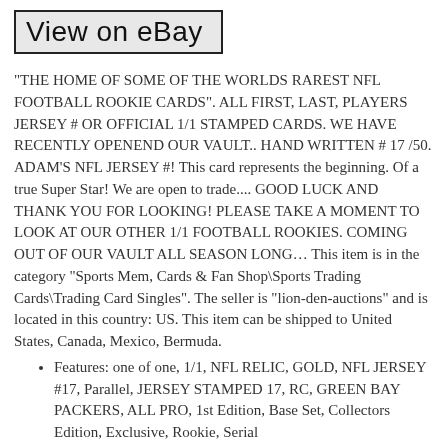View on eBay
“THE HOME OF SOME OF THE WORLDS RAREST NFL FOOTBALL ROOKIE CARDS”. ALL FIRST, LAST, PLAYERS JERSEY # OR OFFICIAL 1/1 STAMPED CARDS. WE HAVE RECENTLY OPENEND OUR VAULT.. HAND WRITTEN # 17 /50. ADAM’S NFL JERSEY #! This card represents the beginning. Of a true Super Star! We are open to trade.... GOOD LUCK AND THANK YOU FOR LOOKING! PLEASE TAKE A MOMENT TO LOOK AT OUR OTHER 1/1 FOOTBALL ROOKIES. COMING OUT OF OUR VAULT ALL SEASON LONG... This item is in the category “Sports Mem, Cards & Fan Shop\Sports Trading Cards\Trading Card Singles”. The seller is “lion-den-auctions” and is located in this country: US. This item can be shipped to United States, Canada, Mexico, Bermuda.
Features: one of one, 1/1, NFL RELIC, GOLD, NFL JERSEY #17, Parallel, JERSEY STAMPED 17, RC, GREEN BAY PACKERS, ALL PRO, 1st Edition, Base Set, Collectors Edition, Exclusive, Rookie, Serial